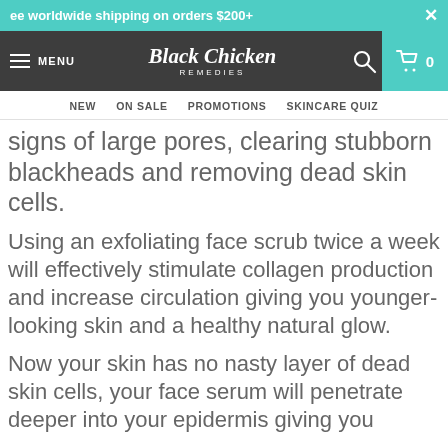ee worldwide shipping on orders $200+
Black Chicken Remedies — MENU — NEW  ON SALE  PROMOTIONS  SKINCARE QUIZ
signs of large pores, clearing stubborn blackheads and removing dead skin cells.
Using an exfoliating face scrub twice a week will effectively stimulate collagen production and increase circulation giving you younger-looking skin and a healthy natural glow.
Now your skin has no nasty layer of dead skin cells, your face serum will penetrate deeper into your epidermis giving you